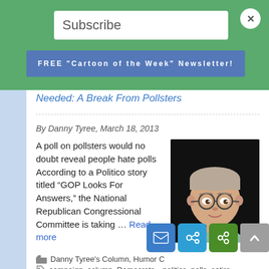Subscribe
FREE "Cartoon of the Week" Newsletter!
Needed: A Break From Pollsters
By Danny Tyree, March 18, 2013
[Figure (photo): Headshot of Danny Tyree, a middle-aged man with glasses and light hair, against a dark background]
A poll on pollsters would no doubt reveal people hate polls According to a Politico story titled “GOP Looks For Answers,” the National Republican Congressional Committee is taking … Read more
Danny Tyree's Column, Humor C
campaign, column, Democrats, politics, polls, satire